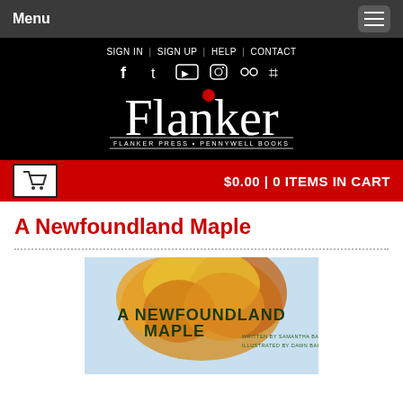Menu
SIGN IN | SIGN UP | HELP | CONTACT
[Figure (logo): Flanker Press / Pennywell Books logo with red dot over letter 'a' in Flanker, white serif text on black background, subtitle FLANKER PRESS • PENNYWELL BOOKS]
$0.00 | 0 ITEMS IN CART
A Newfoundland Maple
[Figure (illustration): Book cover for 'A Newfoundland Maple' written by Samantha Baker, illustrated by Dawn Baker. Shows autumn maple tree with orange/yellow foliage on light blue background with stylized text.]